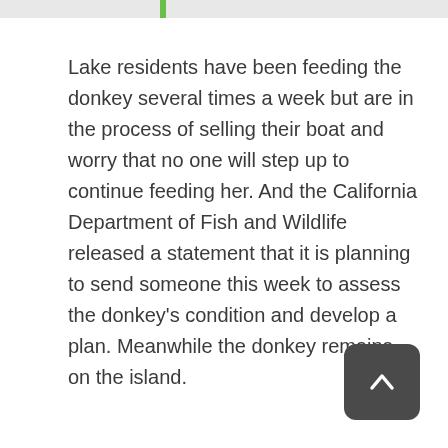Lake residents have been feeding the donkey several times a week but are in the process of selling their boat and worry that no one will step up to continue feeding her. And the California Department of Fish and Wildlife released a statement that it is planning to send someone this week to assess the donkey's condition and develop a plan. Meanwhile the donkey remains on the island.